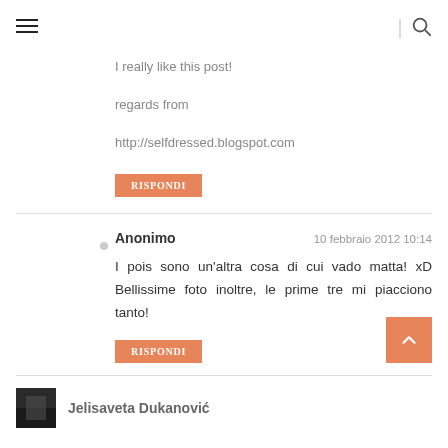≡  |  🔍
I really like this post!
regards from
http://selfdressed.blogspot.com
RISPONDI
Anonimo  10 febbraio 2012 10:14
I pois sono un'altra cosa di cui vado matta! xD Bellissime foto inoltre, le prime tre mi piacciono tanto!
RISPONDI
Jelisaveta Dukanović